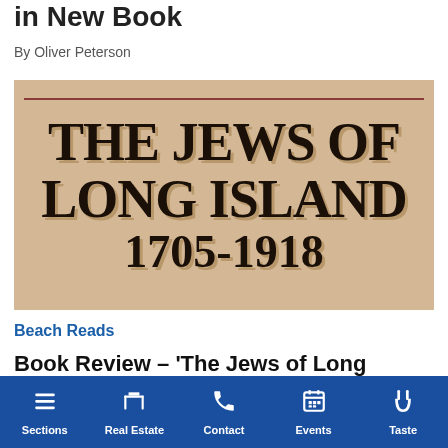in New Book
By Oliver Peterson
[Figure (photo): Book cover of 'The Jews of Long Island 1705-1918' with large bold serif text on aged parchment background with a dark red horizontal line near the top.]
Beach Reads
Book Review – 'The Jews of Long Island: 1705-1918' by Brad Kolodny
Justin Mitselmakher
Sections | Real Estate | Contact | Events | Taste